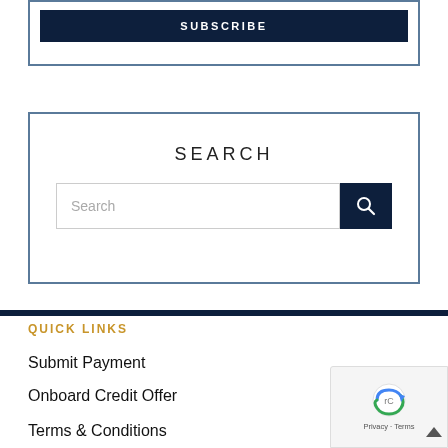[Figure (screenshot): Subscribe button inside a bordered box with dark navy background]
SEARCH
[Figure (screenshot): Search input box with search button inside bordered box]
QUICK LINKS
Submit Payment
Onboard Credit Offer
Terms & Conditions
[Figure (other): reCAPTCHA privacy widget overlay in bottom right corner]